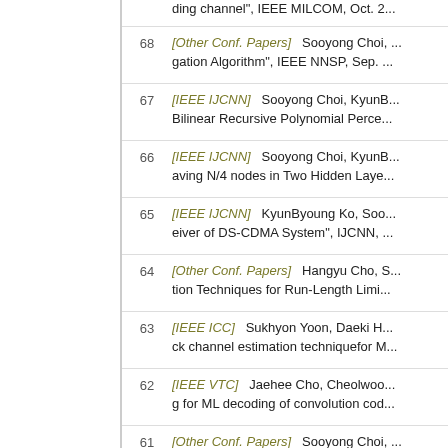[partial] ding channel", IEEE MILCOM, Oct. 2...
68 [Other Conf. Papers]   Sooyong Choi, ... gation Algorithm", IEEE NNSP, Sep. ...
67 [IEEE IJCNN]   Sooyong Choi, KyunB... Bilinear Recursive Polynomial Perce...
66 [IEEE IJCNN]   Sooyong Choi, KyunB... aving N/4 nodes in Two Hidden Laye...
65 [IEEE IJCNN]   KyunByoung Ko, Soo... eiver of DS-CDMA System", IJCNN, ...
64 [Other Conf. Papers]   Hangyu Cho, S... tion Techniques for Run-Length Limi...
63 [IEEE ICC]   Sukhyon Yoon, Daeki H... ck channel estimation techniquefor M...
62 [IEEE VTC]   Jaehee Cho, Cheolwoo... g for ML decoding of convolution cod...
61 [Other Conf. Papers]   Sooyong Choi, ... Using Adaptive Polynomial Perceptro...
60 [IEEE VTC]   Jeongho Park, Sukhyo... Estimation Technique in a DS/CDMA...
59 [IEEE VTC]   Goohyun Park, Sukhyo... Turbo-code Decoder Using a block-...